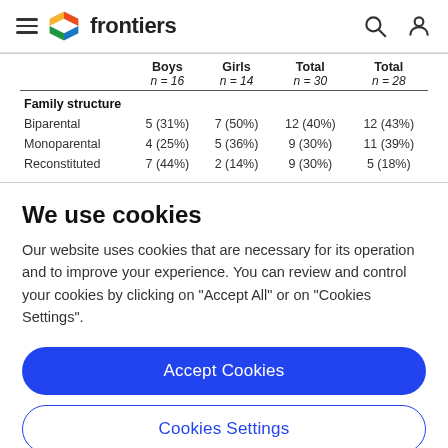frontiers
|  | Boys
n = 16 | Girls
n = 14 | Total
n = 30 | Total
n = 28 |
| --- | --- | --- | --- | --- |
| Family structure |  |  |  |  |
| Biparental | 5 (31%) | 7 (50%) | 12 (40%) | 12 (43%) |
| Monoparental | 4 (25%) | 5 (36%) | 9 (30%) | 11 (39%) |
| Reconstituted | 7 (44%) | 2 (14%) | 9 (30%) | 5 (18%) |
We use cookies
Our website uses cookies that are necessary for its operation and to improve your experience. You can review and control your cookies by clicking on "Accept All" or on "Cookies Settings".
Accept Cookies
Cookies Settings